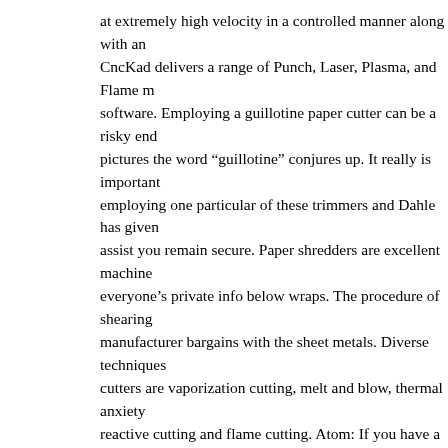at extremely high velocity in a controlled manner along with an CncKad delivers a range of Punch, Laser, Plasma, and Flame m software. Employing a guillotine paper cutter can be a risky end pictures the word “guillotine” conjures up. It really is important employing one particular of these trimmers and Dahle has given assist you remain secure. Paper shredders are excellent machine everyone’s private info below wraps. The procedure of shearing manufacturer bargains with the sheet metals. Diverse techniques cutters are vaporization cutting, melt and blow, thermal anxiety reactive cutting and flame cutting. Atom: If you have a large wo with high-volume projects, the Atom series of rotary paper trim Atom can cut up to thirty sheets at one time and has an very tou added safety and accuracy. Laser cutting has actually produced decades or so due to its correct precision and less time wastage. collectively China factories that provide manufacturing systems by processing industries including but not restricted to: cnc cutt metal cutting machine. It assists the cutting result to get a greate laser engraving machine and reduce the energy, clean the guide drop the lubricating oil on the guide rail, try to move the slide ro